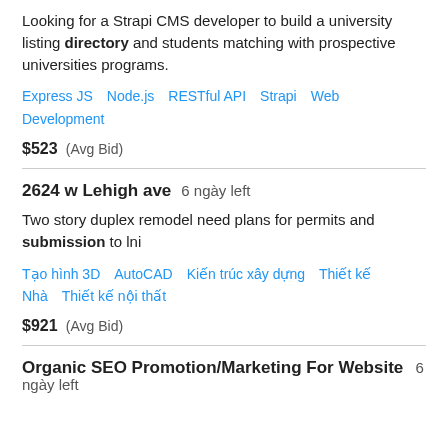Looking for a Strapi CMS developer to build a university listing directory and students matching with prospective universities programs.
Express JS   Node.js   RESTful API   Strapi   Web Development
$523  (Avg Bid)
2624 w Lehigh ave   6 ngày left
Two story duplex remodel need plans for permits and submission to lni
Tạo hình 3D   AutoCAD   Kiến trúc xây dựng   Thiết kế Nhà   Thiết kế nội thất
$921  (Avg Bid)
Organic SEO Promotion/Marketing For Website   6 ngày left